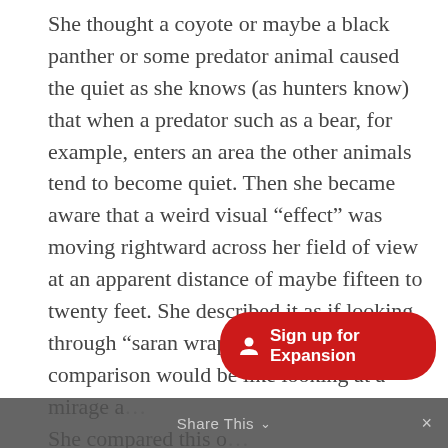She thought a coyote or maybe a black panther or some predator animal caused the quiet as she knows (as hunters know) that when a predator such as a bear, for example, enters an area the other animals tend to become quiet. Then she became aware that a weird visual “effect” was moving rightward across her field of view at an apparent distance of maybe fifteen to twenty feet. She described it as if looking through “saran wrap.” Perhaps a more apt comparison would be like looking at a mirage a… She compared this o… scene as being so ma… hat like the effect of the…
[Figure (other): Red rounded-rectangle button overlay reading 'Sign up for Expansion' with a person icon]
Share This ∨  ×